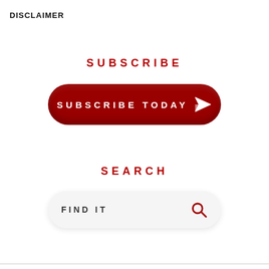DISCLAIMER
SUBSCRIBE
[Figure (other): Red pill-shaped button with white text reading 'SUBSCRIBE TODAY' and a paper plane icon]
SEARCH
[Figure (other): Light gray rounded search input field with placeholder text 'FIND IT' and a red magnifying glass icon on the right]